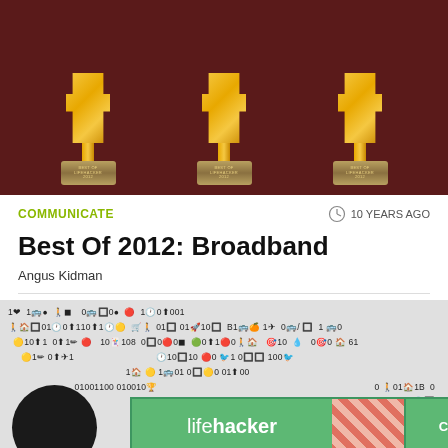[Figure (photo): Three golden trophy awards with 'Best Of Lifehacker 2012' engraved on the base, arranged side by side against a dark red background.]
COMMUNICATE
10 YEARS AGO
Best Of 2012: Broadband
Angus Kidman
[Figure (screenshot): A screenshot showing emoji-like icons and binary numbers mixed together in a garbled text pattern, with a Lifehacker advertisement overlay at the bottom showing 'lifehacker' branding and a 'CLICK HERE' button with diagonal stripe decorations.]